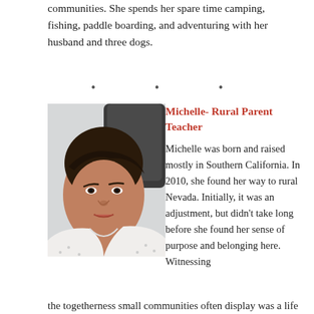communities. She spends her spare time camping, fishing, paddle boarding, and adventuring with her husband and three dogs.
· · ·
[Figure (photo): Portrait photo of Michelle, a woman with dark hair wearing a white patterned top, seated in front of a light wall and dark chair.]
Michelle- Rural Parent Teacher
Michelle was born and raised mostly in Southern California. In 2010, she found her way to rural Nevada. Initially, it was an adjustment, but didn't take long before she found her sense of purpose and belonging here. Witnessing the togetherness small communities often display was a life
the togetherness small communities often display was a life